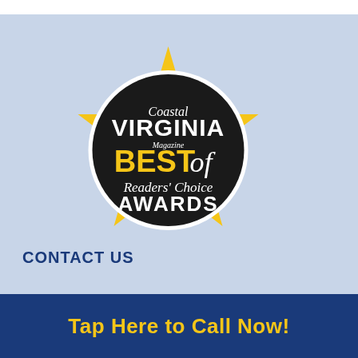[Figure (logo): Coastal Virginia Magazine Best of Readers' Choice Awards logo — a gold 5-pointed star with a black circle badge overlaid, containing text: Coastal VIRGINIA Magazine BEST of Readers' Choice AWARDS]
CONTACT US
Tap Here to Call Now!